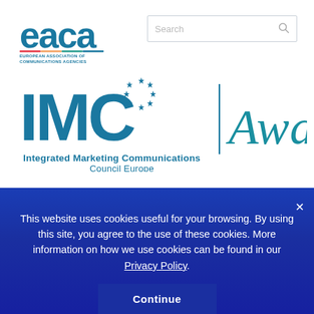[Figure (logo): EACA European Association of Communications Agencies logo in teal/blue]
[Figure (screenshot): Search input box with magnifying glass icon]
[Figure (logo): IMC Awards logo - Integrated Marketing Communications Council Europe with stars and Awards text in italic]
This website uses cookies useful for your browsing. By using this site, you agree to the use of these cookies. More information on how we use cookies can be found in our Privacy Policy.
Continue